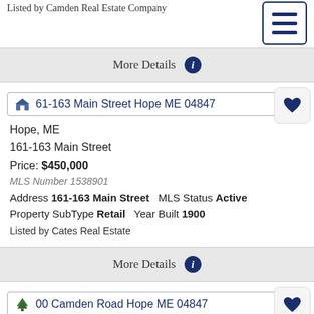Bathroom 1   Bedrooms 2   Full Bath 1   MLS Status Active
Listed by Camden Real Estate Company
More Details ℹ
161-163 Main Street Hope ME 04847
Hope, ME
161-163 Main Street
Price: $450,000
MLS Number 1538901
Address 161-163 Main Street   MLS Status Active
Property SubType Retail   Year Built 1900
Listed by Cates Real Estate
More Details ℹ
00 Camden Road Hope ME 04847
Hope, ME